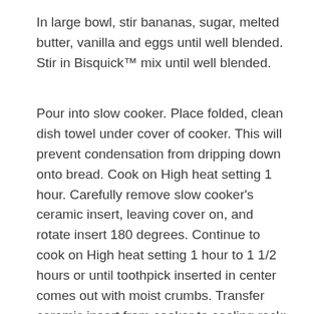In large bowl, stir bananas, sugar, melted butter, vanilla and eggs until well blended. Stir in Bisquick™ mix until well blended.
Pour into slow cooker. Place folded, clean dish towel under cover of cooker. This will prevent condensation from dripping down onto bread. Cook on High heat setting 1 hour. Carefully remove slow cooker's ceramic insert, leaving cover on, and rotate insert 180 degrees. Continue to cook on High heat setting 1 hour to 1 1/2 hours or until toothpick inserted in center comes out with moist crumbs. Transfer ceramic insert from cooker to cooling rack; uncover and let stand 15 minutes. Remove bread from ceramic insert to cooling rack.